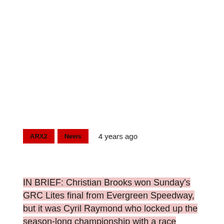ARX2   News   4 years ago
IN BRIEF: Christian Brooks won Sunday's GRC Lites final from Evergreen Speedway, but it was Cyril Raymond who locked up the season-long championship with a race remaining in the 2017 season. It was the second title in a Lites car in eight days